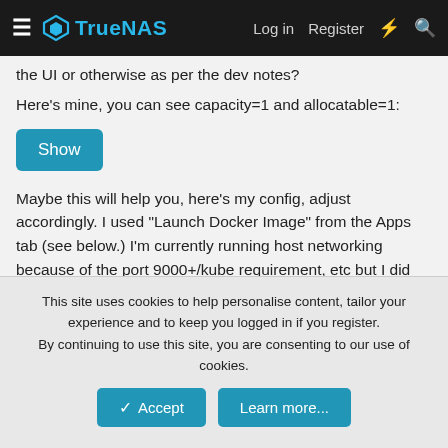TrueNAS — Log in  Register
the UI or otherwise as per the dev notes?
Here's mine, you can see capacity=1 and allocatable=1:
Show
Maybe this will help you, here's my config, adjust accordingly. I used "Launch Docker Image" from the Apps tab (see below.) I'm currently running host networking because of the port 9000+/kube requirement, etc but I did have it working in an isolate container as well before I used my current process of spinning up containers via the UI versus docker-compose:
This site uses cookies to help personalise content, tailor your experience and to keep you logged in if you register.
By continuing to use this site, you are consenting to our use of cookies.
Accept  Learn more...